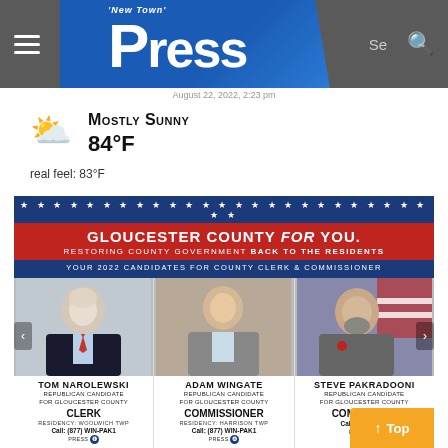'New Town' Press
August 22, 2022, 2:23 pm
Mostly Sunny
84°F
real feel: 83°F
[Figure (infographic): Gloucester County for You political advertisement banner with 2022 candidates for County Clerk & Commissioner: Tom Narolewski (Republican Candidate for Gloucester County Clerk, Residency: Woolwich Twp), Adam Wingate (Republican Candidate for Gloucester County Commissioner, Residency: Harrison Twp), Steve Pakradooni (Republican Candidate for Gloucester County Commissioner). Call: (877) WIN-PAK1]
TOM NAROLEWSKI
REPUBLICAN CANDIDATE FOR GLOUCESTER COUNTY
CLERK
RESIDENCY: WOOLWICH TWP
Call: (877) WIN-PAK1
PRESS
ADAM WINGATE
REPUBLICAN CANDIDATE FOR GLOUCESTER COUNTY
COMMISSIONER
RESIDENCY: HARRISON TWP
Call: (877) WIN-PAK1
PRESS
STEVE PAKRADOONI
REPUBLICAN CANDIDATE FOR GLOUCESTER COUNTY
COMMISSIONER
Call: (877) WIN-
PRESS